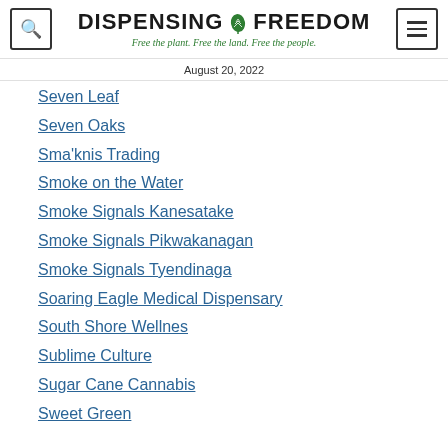DISPENSING FREEDOM — Free the plant. Free the land. Free the people.
August 20, 2022
Seven Leaf
Seven Oaks
Sma'knis Trading
Smoke on the Water
Smoke Signals Kanesatake
Smoke Signals Pikwakanagan
Smoke Signals Tyendinaga
Soaring Eagle Medical Dispensary
South Shore Wellnes
Sublime Culture
Sugar Cane Cannabis
Sweet Green